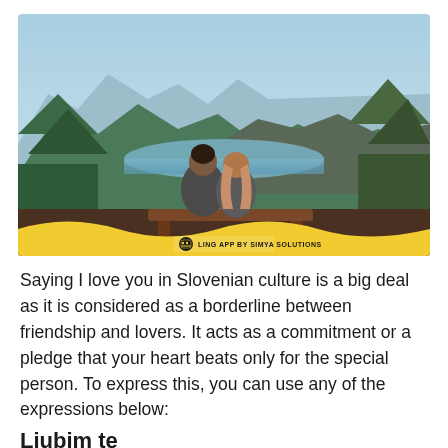[Figure (photo): A couple sitting on a bench from behind, arms around each other, overlooking a mountain lake landscape with trees and blue sky. Yellow wave banner at bottom with Ling App by Simya Solutions logo.]
Saying I love you in Slovenian culture is a big deal as it is considered as a borderline between friendship and lovers. It acts as a commitment or a pledge that your heart beats only for the special person. To express this, you can use any of the expressions below:
Ljubim te